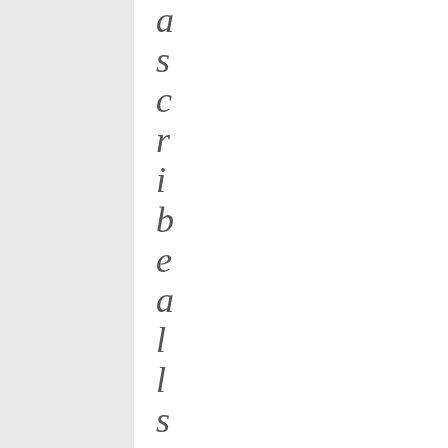[Figure (illustration): Gray vertical panel on the left side of the page]
ascribeallset